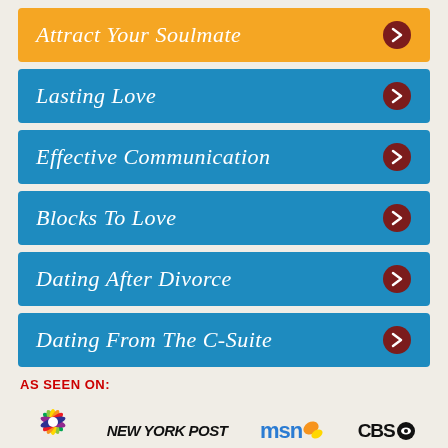Attract Your Soulmate
Lasting Love
Effective Communication
Blocks To Love
Dating After Divorce
Dating From The C-Suite
AS SEEN ON:
[Figure (logo): NBC peacock logo with colorful feathers and NBC text below]
[Figure (logo): New York Post logo in bold italic text]
[Figure (logo): MSN logo in blue with orange butterfly/wing graphic]
[Figure (logo): CBS logo with eye symbol]